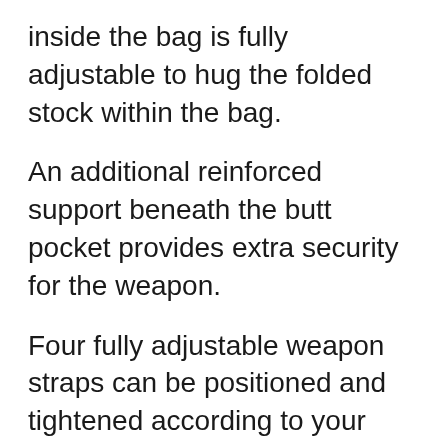inside the bag is fully adjustable to hug the folded stock within the bag.
An additional reinforced support beneath the butt pocket provides extra security for the weapon.
Four fully adjustable weapon straps can be positioned and tightened according to your choice to secure the barrel in position.
An integral cleaning rod sleeve runs along the spine of this bag.
A padded rim runs along the inside of the zip ensuring that the weapon and scope